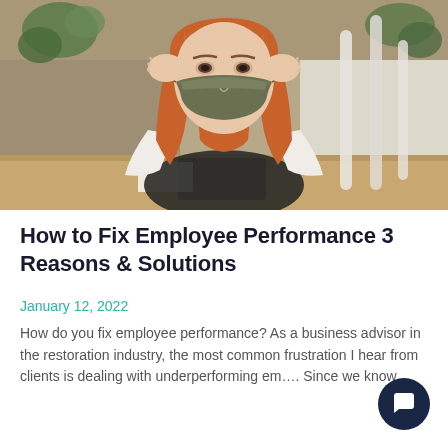[Figure (photo): A woman with long red hair wearing a dark face mask, sitting at a desk with her hands on her temples in a stressed pose. A tablet and keyboard are visible on the desk. Background shows plants and a bright office-like setting.]
How to Fix Employee Performance 3 Reasons & Solutions
January 12, 2022
How do you fix employee performance? As a business advisor in the restoration industry, the most common frustration I hear from clients is dealing with underperforming em... Since we know